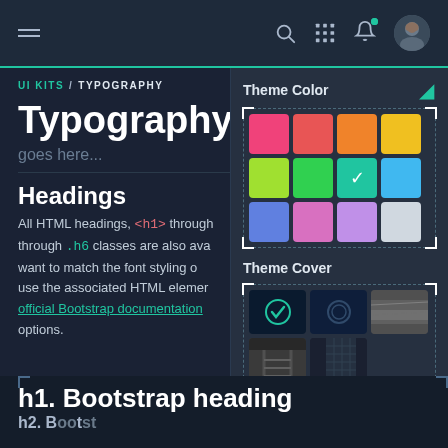[Figure (screenshot): Dark-themed web UI navigation bar with hamburger menu, search icon, grid icon, bell notification icon with teal dot, and user avatar photo]
UI KITS / TYPOGRAPHY
Typography page he...
goes here...
Headings
All HTML headings, <h1> through <h6>, are available. .h1 through .h6 classes are also available, for when you want to match the font styling of a heading but cannot use the associated HTML element. See the official Bootstrap documentation for additional options.
[Figure (screenshot): Theme Color panel showing a 3x4 grid of color swatches: pink, coral/red, orange, yellow (row 1); lime green, bright green, teal-checked (selected), sky blue (row 2); cornflower blue, pink/magenta, lavender/purple, light gray (row 3). Dashed border with corner brackets.]
[Figure (screenshot): Theme Cover panel showing 5 thumbnail images in a 2-row grid: teal checkmark on dark (selected), dark blue circular, rocky/stone landscape; railroad/train, modern glass building. Dashed border with corner brackets.]
h1. Bootstrap heading
h2. Bootstrap heading